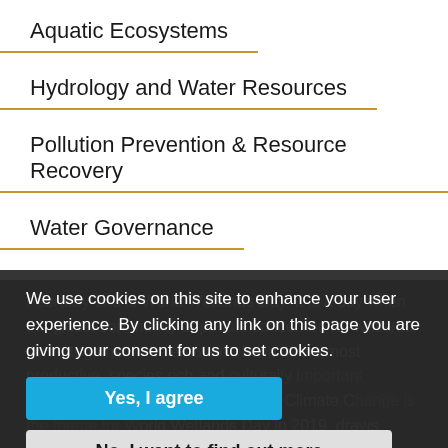Aquatic Ecosystems
Hydrology and Water Resources
Pollution Prevention & Resource Recovery
Water Governance
Related content
February 2nd is World Wetlands Day. It is a day when the global community of people concerned for wetlands come together in celebration of one of the most productive, species rich and culturally important ecosystems on earth. Wetlands and Climate Change is the theme for World Wetlands Day in 2019, draws attention to the vital role of wetlands
We use cookies on this site to enhance your user experience. By clicking any link on this page you are giving your consent for us to set cookies.
Yes, I agree
No, I want to find out more